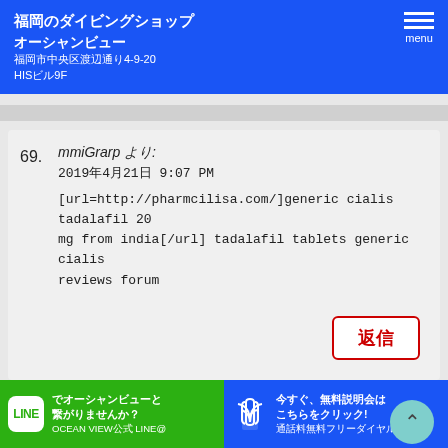福岡のダイビングショップ オーシャンビュー
福岡市中央区渡辺通り4-9-20
HISビル9F
69. mmiGrarp より:
2019年4月21日 9:07 PM
[url=http://pharmcilisa.com/]generic cialis tadalafil 20 mg from india[/url] tadalafil tablets generic cialis reviews forum
70. byhTothe より:
2019年4月22日 12:54 AM
でオーシャンビューと繋がりませんか？
OCEAN VIEW公式 LINE@
今すぐ、無料説明会はこちらをクリック!
通話料無料フリーダイヤル